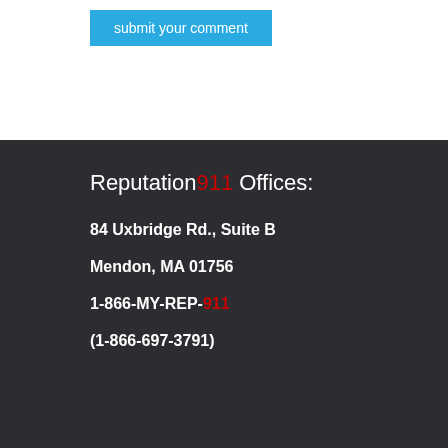submit your comment
Reputation911 Offices:
84 Uxbridge Rd., Suite B
Mendon, MA 01756
1-866-MY-REP-911
(1-866-697-3791)